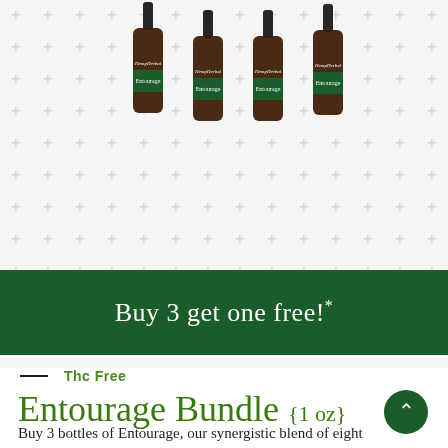[Figure (photo): Four amber glass dropper bottles of HempHerbals Entourage product arranged side by side on a white background with light grey plus sign pattern]
Buy 3 get one free!*
Thc Free
Entourage Bundle {1 oz}
Buy 3 bottles of Entourage, our synergistic blend of eight